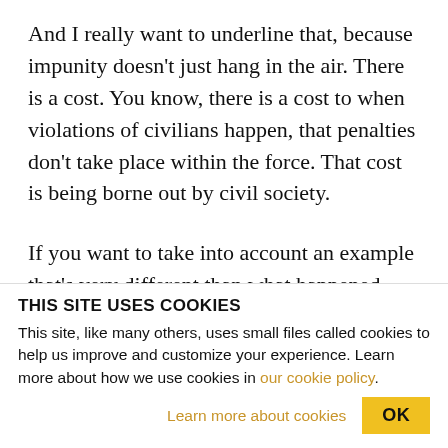And I really want to underline that, because impunity doesn't just hang in the air. There is a cost. You know, there is a cost to when violations of civilians happen, that penalties don't take place within the force. That cost is being borne out by civil society.
If you want to take into account an example that's very different than what happened with Ortiz Glaze, there is an officer who's still on the force who was
THIS SITE USES COOKIES
This site, like many others, uses small files called cookies to help us improve and customize your experience. Learn more about how we use cookies in our cookie policy.
Learn more about cookies
OK